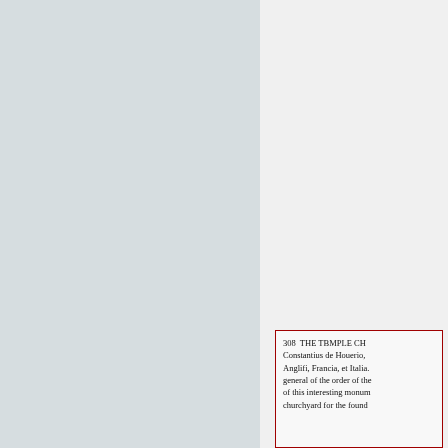[Figure (photo): Left half of a two-page spread showing a grey-toned page, likely a blank or image page from a historical book.]
308 THE TBMPLE CH Constantius de Houerio, Anglifi, Francia, et Italia. general of the order of the of this interesting monum churchyard for the found